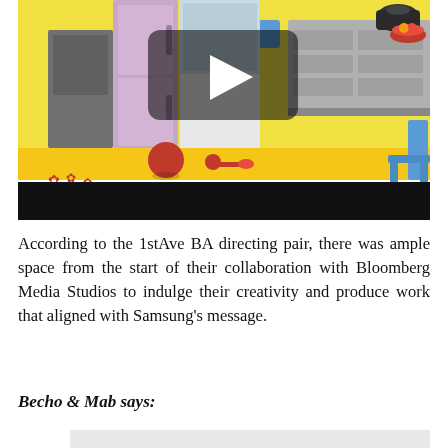[Figure (screenshot): Animated/3D rendered kitchen scene with yellow floor, grey cabinets, refrigerator, scattered toy objects including a red ball, star shapes, and a rattle. A dark video play button overlay is visible in the upper center. A black bar runs across the bottom of the image.]
According to the 1stAve BA directing pair, there was ample space from the start of their collaboration with Bloomberg Media Studios to indulge their creativity and produce work that aligned with Samsung's message.
Becho & Mab says: